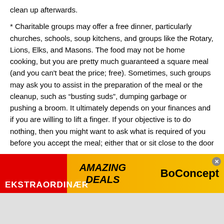clean up afterwards.
* Charitable groups may offer a free dinner, particularly churches, schools, soup kitchens, and groups like the Rotary, Lions, Elks, and Masons. The food may not be home cooking, but you are pretty much guaranteed a square meal (and you can't beat the price; free). Sometimes, such groups may ask you to assist in the preparation of the meal or the cleanup, such as “busting suds”, dumping garbage or pushing a broom. It ultimately depends on your finances and if you are willing to lift a finger. If your objective is to do nothing, then you might want to ask what is required of you before you accept the meal; either that or sit close to the door
[Figure (infographic): Advertisement banner for BoConcept furniture store. Red and orange/yellow gradient background. Text: AMAZING DEALS in black italic, BoConcept in black bold on right, EKSTRAORDINÆR in white bold on lower left. Close button (x) top right.]